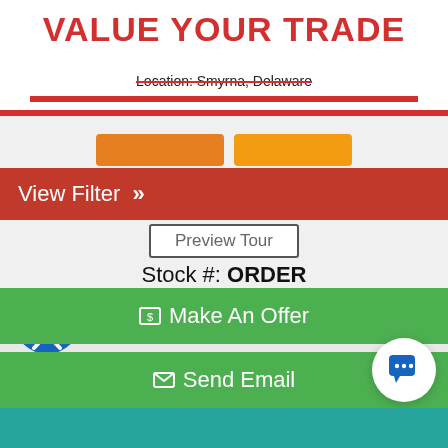VALUE YOUR TRADE
Location: Smyrna, Delaware
View Filter »
Preview Tour
Stock #: ORDER
[Figure (other): Accessibility icon - blue circle with white human figure with arms outstretched]
Make An Offer
Send Email
[Figure (other): Chat button - white circle with blue chat bubble icon]